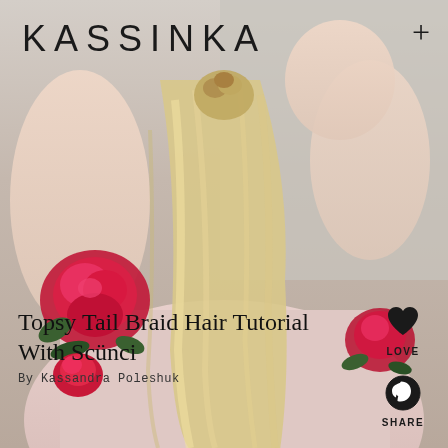[Figure (photo): Woman with long blonde hair braided at top, wearing pink top with red rose embroidery on shoulders, viewed from behind. Background is light grey.]
KASSINKA
+
[Figure (infographic): LOVE heart icon with label LOVE]
[Figure (infographic): Pinterest share icon with label SHARE]
[Figure (infographic): Comment bubble icon with label COMMENT]
Topsy Tail Braid Hair Tutorial With Scünci
By Kassandra Poleshuk